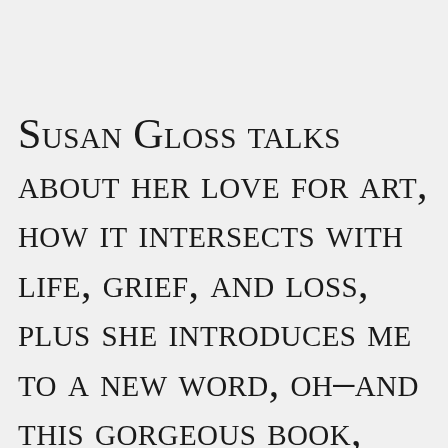Susan Gloss talks about her love for art, how it intersects with life, grief, and loss, plus she introduces me to a new word, oh–and this gorgeous book, The Curiosities